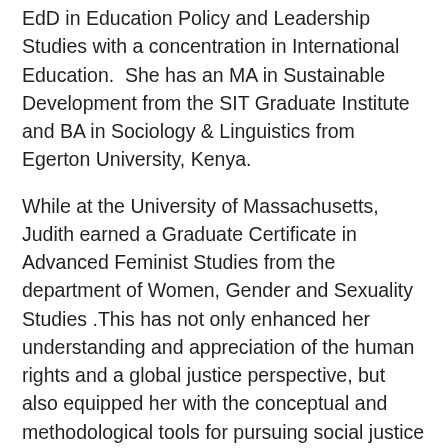EdD in Education Policy and Leadership Studies with a concentration in International Education. She has an MA in Sustainable Development from the SIT Graduate Institute and BA in Sociology & Linguistics from Egerton University, Kenya.
While at the University of Massachusetts, Judith earned a Graduate Certificate in Advanced Feminist Studies from the department of Women, Gender and Sexuality Studies .This has not only enhanced her understanding and appreciation of the human rights and a global justice perspective, but also equipped her with the conceptual and methodological tools for pursuing social justice education. Her major research interests focus on the dynamics of educational policies and practices, access to